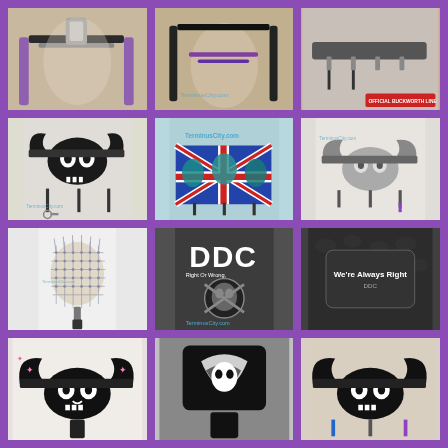[Figure (photo): Product photo: leather harness/tack item with purple straps on beige background, TerminusCity.com watermark]
[Figure (photo): Product photo: leather harness with black and purple straps, TerminusCity.com watermark]
[Figure (photo): Product photo: key/leash holder with text 'OFFICIAL BUCKWORTH LINE' on red label, gray background]
[Figure (photo): Product photo: skull and bull horns wall key holder in black and white, TerminusCity.com watermark, with hanging keys/leashes]
[Figure (photo): Product photo: colorful wall key holder with UK flag and band/character faces (blue-teal artwork), TerminusCity.com watermark]
[Figure (photo): Product photo: chrome skull and bull horns wall key holder with purple accents, TerminusCity.com watermark]
[Figure (photo): Product photo: Pinhead (Hellraiser) themed wall key holder with needles, gray/white, TerminusCity.com watermark]
[Figure (photo): Product photo: DDC (Right or Wrong, We're Always Right) bulldog logo on dark textured background with hanging items, TerminusCity.com watermark]
[Figure (photo): Product photo: close-up of 'We're Always Right' text on dark patterned fabric/item]
[Figure (photo): Product photo: skull and bull horns wall key holder, black and white with pink star accents on white background]
[Figure (photo): Product photo: black and white skull/swirl design key holder on black background with black strap]
[Figure (photo): Product photo: skull and bull horns wall key holder with blue/purple accents on beige background]